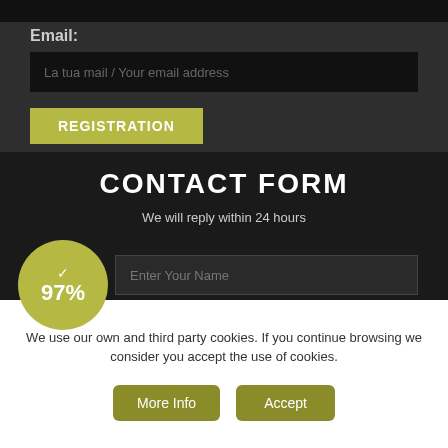Email:
La tua mail / Your email address
REGISTRATION
CONTACT FORM
We will reply within 24 hours
[Figure (infographic): Yellow circle badge with checkmark and 97% text]
Enter Your Name
Enter Your Email
We use our own and third party cookies. If you continue browsing we consider you accept the use of cookies.
More Info
Accept